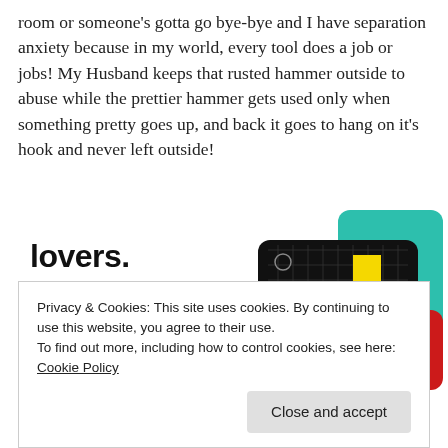room or someone's gotta go bye-bye and I have separation anxiety because in my world, every tool does a job or jobs! My Husband keeps that rusted hammer outside to abuse while the prettier hammer gets used only when something pretty goes up, and back it goes to hang on it's hook and never left outside!
[Figure (illustration): Advertisement banner showing the text 'lovers.' in bold black, 'Download now' in red, and an image of podcast app cards including '99% INVISIBLE' on a dark card with a yellow square icon, overlapping teal and other colored cards.]
Privacy & Cookies: This site uses cookies. By continuing to use this website, you agree to their use.
To find out more, including how to control cookies, see here: Cookie Policy
Close and accept